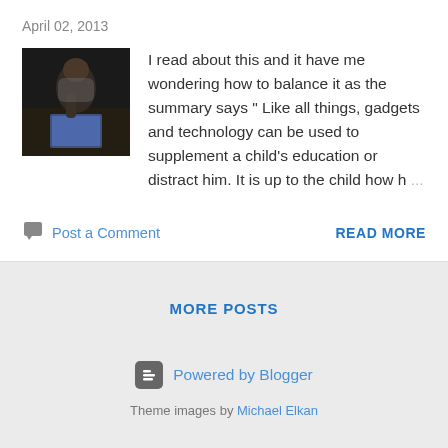April 02, 2013
[Figure (photo): Dark photo of a child looking at a tablet/book on the floor]
I read about this and it have me wondering how to balance it as the summary says " Like all things, gadgets and technology can be used to supplement a child's education or distract him. It is up to the child how h ...
Post a Comment
READ MORE
MORE POSTS
Powered by Blogger
Theme images by Michael Elkan